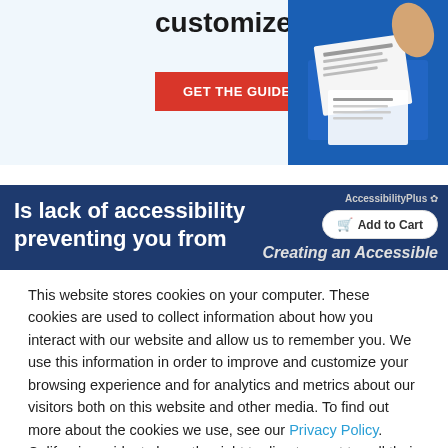[Figure (screenshot): Top advertisement banner with light blue background showing 'customize' text in bold and a red 'GET THE GUIDE' button, with document/paper image on the right side in blue]
[Figure (screenshot): Dark navy blue advertisement strip with white text 'Is lack of accessibility preventing you from' on left, AccessibilityPlus logo and 'Add to Cart' button on right, and 'Creating an Accessible' text partially visible]
This website stores cookies on your computer. These cookies are used to collect information about how you interact with our website and allow us to remember you. We use this information in order to improve and customize your browsing experience and for analytics and metrics about our visitors both on this website and other media. To find out more about the cookies we use, see our Privacy Policy. California residents have the right to direct us not to sell their personal information to third parties by filing an Opt-Out Request: Do Not Sell My Personal Info.
Accept